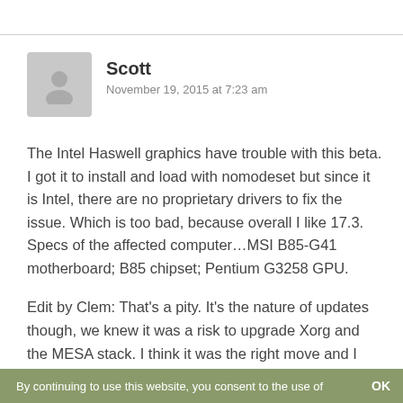[Figure (illustration): Grey avatar silhouette icon of a person on a grey rounded square background]
Scott
November 19, 2015 at 7:23 am
The Intel Haswell graphics have trouble with this beta. I got it to install and load with nomodeset but since it is Intel, there are no proprietary drivers to fix the issue. Which is too bad, because overall I like 17.3. Specs of the affected computer…MSI B85-G41 motherboard; B85 chipset; Pentium G3258 GPU.
Edit by Clem: That's a pity. It's the nature of updates though, we knew it was a risk to upgrade Xorg and the MESA stack. I think it was the right move and I can see many people are happy with the changes, but of course like every upgrade it breaks a few things for a few people. With that said, you've two options here
By continuing to use this website, you consent to the use of    OK